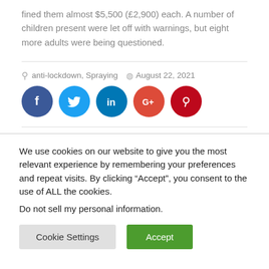fined them almost $5,500 (£2,900) each. A number of children present were let off with warnings, but eight more adults were being questioned.
anti-lockdown, Spraying   August 22, 2021
[Figure (infographic): Social media share buttons: Facebook (blue circle), Twitter (light blue circle), LinkedIn (dark blue circle), Google+ (red circle), Pinterest (dark red circle)]
We use cookies on our website to give you the most relevant experience by remembering your preferences and repeat visits. By clicking “Accept”, you consent to the use of ALL the cookies.
Do not sell my personal information.
Cookie Settings   Accept